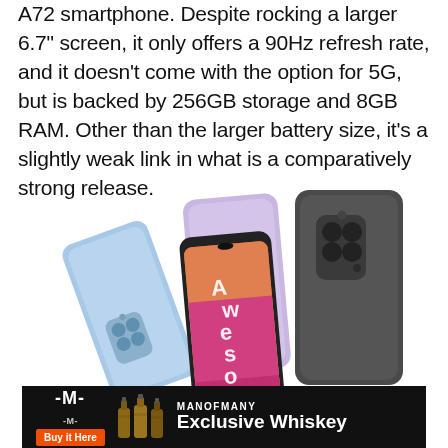A72 smartphone. Despite rocking a larger 6.7" screen, it only offers a 90Hz refresh rate, and it doesn't come with the option for 5G, but is backed by 256GB storage and 8GB RAM. Other than the larger battery size, it's a slightly weak link in what is a comparatively strong release.
[Figure (photo): Three Samsung Galaxy A72 smartphones shown side by side – one blue (back view), one lavender/purple (back view with camera array visible), and one dark gray/black (back view). The center phone shows the front screen displaying a woman in a pink jacket with the word 'Awesome' displayed vertically.]
[Figure (infographic): Advertisement banner for ManOfMany Exclusive Whiskey. Black background with the ManOfMany logo (M symbol), an orange 'Buy it Here' button, whiskey bottle icons, the text 'MANOFMANY' in white and 'Exclusive Whiskey' in bold white.]